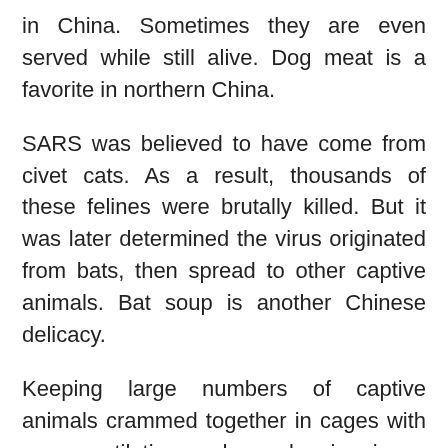in China. Sometimes they are even served while still alive. Dog meat is a favorite in northern China.
SARS was believed to have come from civet cats. As a result, thousands of these felines were brutally killed. But it was later determined the virus originated from bats, then spread to other captive animals. Bat soup is another Chinese delicacy.
Keeping large numbers of captive animals crammed together in cages with poor ventilation and no cleaning is an ideal vector for viral diseases. Each year, China consumes 730 million pigs. Fifty percent of China's factory farmed pigs have so far contracted lethal swine flu. Rising living standards have boosted demand for pork.